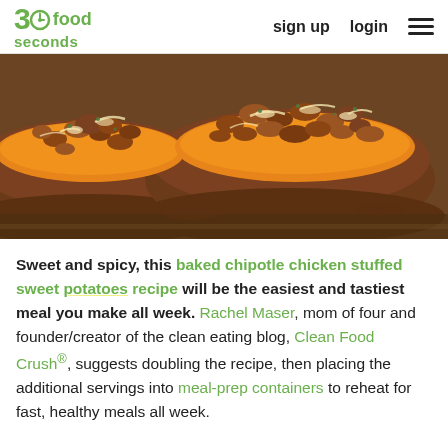30seconds food | sign up | login
[Figure (photo): Close-up photo of baked chipotle chicken stuffed sweet potatoes with melted cheese on a baking tray]
Sweet and spicy, this baked chipotle chicken stuffed sweet potatoes recipe will be the easiest and tastiest meal you make all week. Rachel Maser, mom of four and founder/creator of the clean eating blog, Clean Food Crush®, suggests doubling the recipe, then placing the additional servings into meal-prep containers to reheat for fast, healthy meals all week.